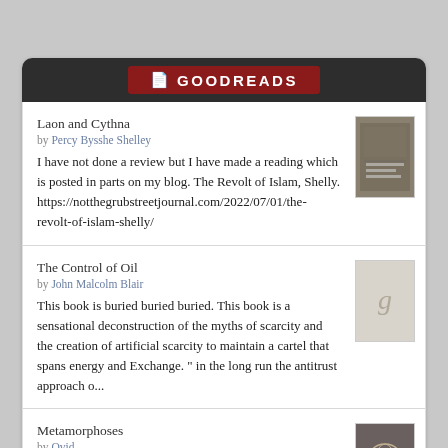GOODREADS
Laon and Cythna
by Percy Bysshe Shelley
I have not done a review but I have made a reading which is posted in parts on my blog. The Revolt of Islam, Shelly. https://notthegrubstreetjournal.com/2022/07/01/the-revolt-of-islam-shelly/
The Control of Oil
by John Malcolm Blair
This book is buried buried buried. This book is a sensational deconstruction of the myths of scarcity and the creation of artificial scarcity to maintain a cartel that spans energy and Exchange. " in the long run the antitrust approach o...
Metamorphoses
by Ovid